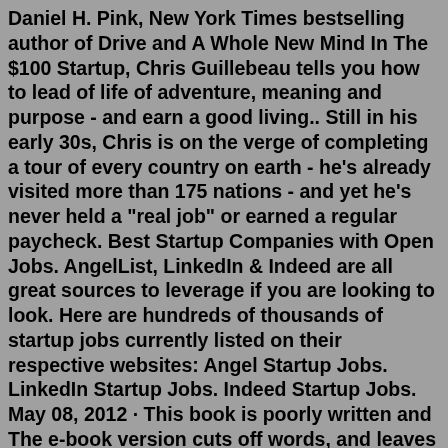Daniel H. Pink, New York Times bestselling author of Drive and A Whole New Mind In The $100 Startup, Chris Guillebeau tells you how to lead of life of adventure, meaning and purpose - and earn a good living.. Still in his early 30s, Chris is on the verge of completing a tour of every country on earth - he's already visited more than 175 nations - and yet he's never held a "real job" or earned a regular paycheck. Best Startup Companies with Open Jobs. AngelList, LinkedIn & Indeed are all great sources to leverage if you are looking to look. Here are hundreds of thousands of startup jobs currently listed on their respective websites: Angel Startup Jobs. LinkedIn Startup Jobs. Indeed Startup Jobs. May 08, 2012 · This book is poorly written and The e-book version cuts off words, and leaves a lot to be desired. The book gives the reader a false sense that it is actually possible to start a business for $100. When anyone should know that after paying the fees to register a business with the state, and purchase a business license, the license alone of $100 - $150 - and the...